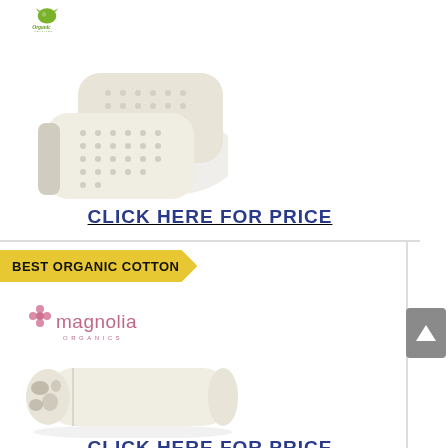[Figure (logo): Organic Textiles brand logo with green leaf icon and italic green text]
[Figure (photo): Two latex foam pillows with perforated surface, ivory/cream colored, contoured shape]
CLICK HERE FOR PRICE
BEST ORGANIC COTTON
[Figure (logo): Magnolia Organics brand logo with pink flower icon and pink cursive text]
[Figure (photo): Organic cotton pillow, white/cream color with visible cotton filling at one end]
CLICK HERE FOR PRICE